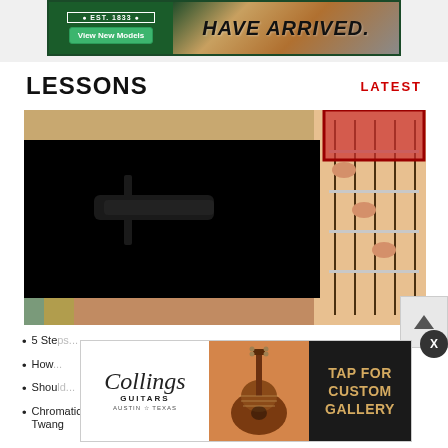[Figure (photo): Top banner advertisement for a guitar brand showing guitars, est. 1833 logo, 'View New Models' button, and text 'HAVE ARRIVED.']
LESSONS
LATEST
[Figure (screenshot): Featured guitar lesson thumbnail showing a guitar being played with a video player overlay (black box with play button triangle)]
[Figure (photo): Bottom advertisement for Collings Guitars, Austin Texas, with guitar image and 'TAP FOR CUSTOM GALLERY' text]
5 Ste...
How...
Shou...
Chromatic Twang